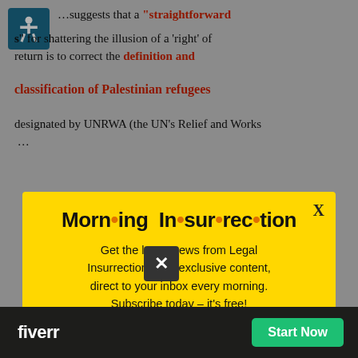suggests that a "straightforward" for shattering the illusion of a 'right' of return is to correct the definition and classification of Palestinian refugees designated by UNRWA (the UN's Relief and Works
[Figure (other): Yellow modal popup overlay for 'Morning Insurrection' newsletter subscription with orange JOIN NOW button]
reasonable compromise, it's false hope that's been
than t
them by their own leaders back in 1948.
[Figure (other): Fiverr advertisement banner with dark background, Fiverr logo, and green 'Start Now' button. Also shows an X close button above it.]